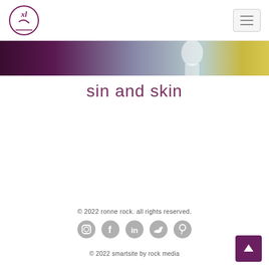XL logo and hamburger menu
[Figure (photo): Partial photo strip showing dark purple/teal background with a figure in white and yellow]
sin and skin
© 2022 ronne rock. all rights reserved.
[Figure (infographic): Social media icons: Instagram, Facebook, LinkedIn, Twitter, Pinterest]
© 2022 smartsite by rock media